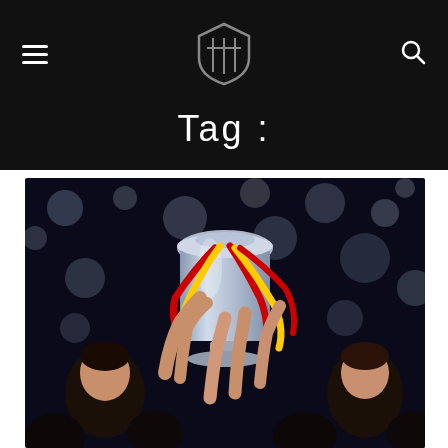Navigation header with hamburger menu, shield logo, and search icon
Tag :
[Figure (photo): People celebrating and holding up a football trophy (UEFA European Championship trophy) decorated with red and yellow ribbons, crowd with bokeh lights in background]